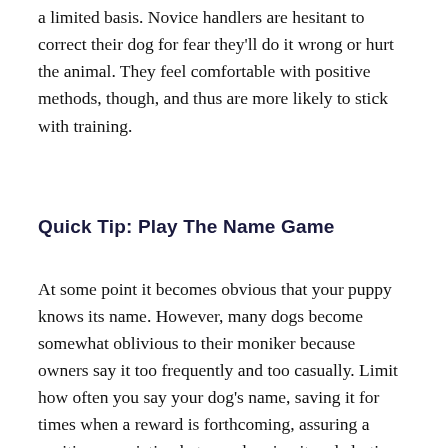a limited basis. Novice handlers are hesitant to correct their dog for fear they'll do it wrong or hurt the animal. They feel comfortable with positive methods, though, and thus are more likely to stick with training.
Quick Tip: Play The Name Game
At some point it becomes obvious that your puppy knows its name. However, many dogs become somewhat oblivious to their moniker because owners say it too frequently and too casually. Limit how often you say your dog's name, saving it for times when a reward is forthcoming, assuring a positive association between hearing it and alerting it.
Just as with other basic training, there are games that encourage your dog to look your way upon hearing its name. One similar to the come-and-go game used for “recalls” involves throwing a treat out, allowing your